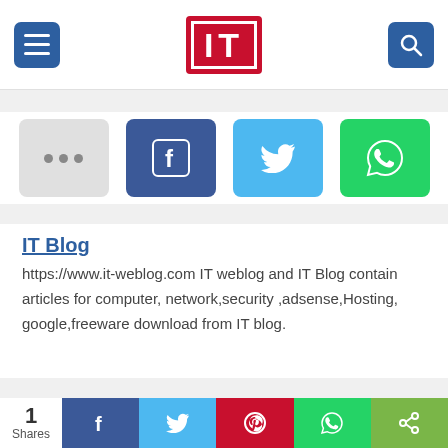[Figure (logo): IT Blog logo — red rectangle with white border and white IT text inside]
[Figure (infographic): Row of four social share buttons: more (dots), Facebook, Twitter, WhatsApp]
IT Blog
https://www.it-weblog.com IT weblog and IT Blog contain articles for computer, network,security ,adsense,Hosting, google,freeware download from IT blog.
[Figure (infographic): Footer share bar: 1 Shares count, then Facebook, Twitter, Pinterest, WhatsApp, and generic share buttons]